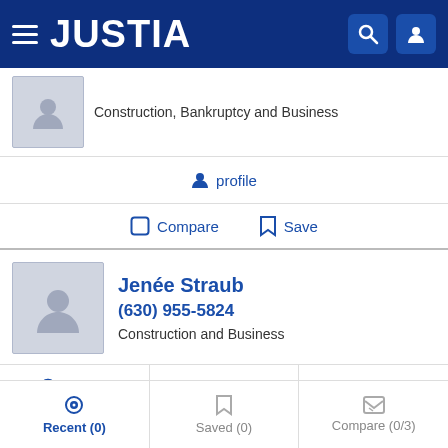JUSTIA
Construction, Bankruptcy and Business
profile
Compare  Save
Jenée Straub
(630) 955-5824
Construction and Business
website  profile  email
Compare  Save
Recent (0)  Saved (0)  Compare (0/3)